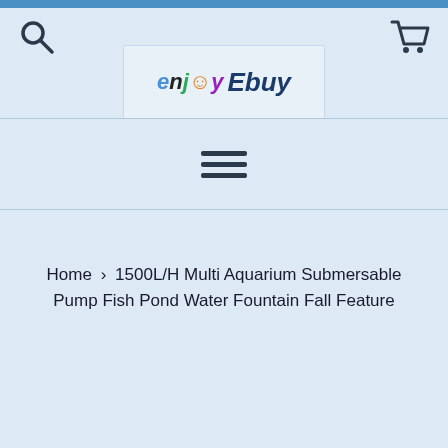[Figure (logo): enjoy Ebuy logo with colorful stylized text and smiley face icon]
[Figure (other): Hamburger menu icon with three horizontal lines]
Home › 1500L/H Multi Aquarium Submersable Pump Fish Pond Water Fountain Fall Feature